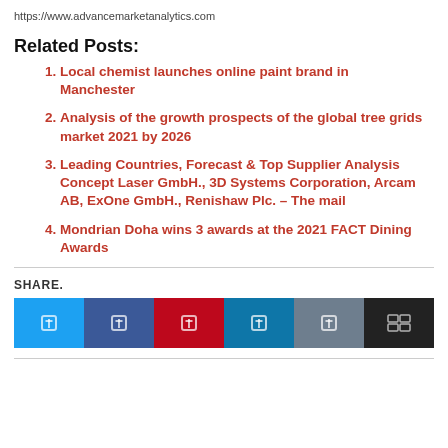https://www.advancemarketanalytics.com
Related Posts:
Local chemist launches online paint brand in Manchester
Analysis of the growth prospects of the global tree grids market 2021 by 2026
Leading Countries, Forecast & Top Supplier Analysis Concept Laser GmbH., 3D Systems Corporation, Arcam AB, ExOne GmbH., Renishaw Plc. – The mail
Mondrian Doha wins 3 awards at the 2021 FACT Dining Awards
SHARE.